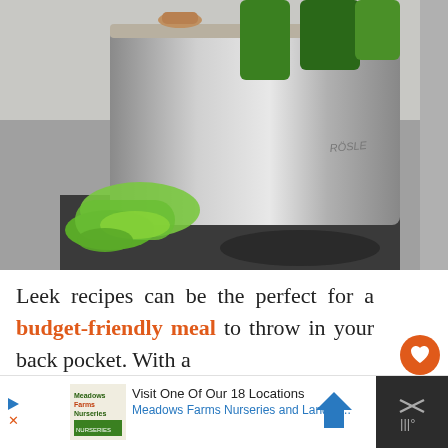[Figure (photo): A stainless steel RÖSLE pot on an induction cooktop with fresh leeks inside and beside it, close-up kitchen photography]
Leek recipes can be the perfect for a budget-friendly meal to throw in your back pocket. With a
[Figure (other): Heart/favorite button (orange circle with white heart icon) and count of 1]
[Figure (other): Advertisement bar: Meadows Farms Nurseries and Landscape - Visit One Of Our 18 Locations, with logo, play button, arrow icon, and close button panel]